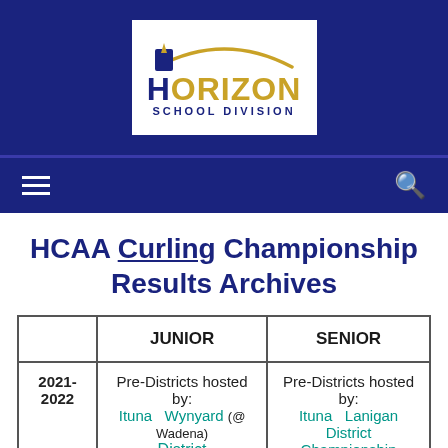Horizon School Division
HCAA Curling Championship Results Archives
|  | JUNIOR | SENIOR |
| --- | --- | --- |
| 2021-2022 | Pre-Districts hosted by:
Ituna  Wynyard (@ Wadena)
District | Pre-Districts hosted by:
Ituna  Lanigan
District Championship |